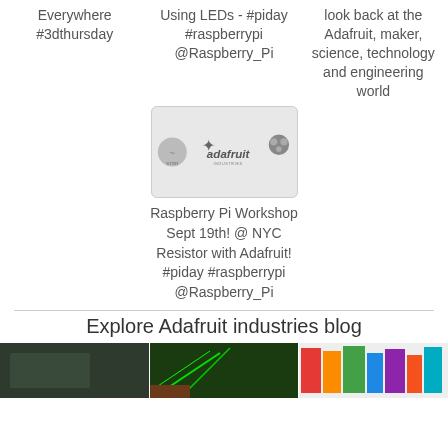Everywhere #3dthursday
Using LEDs - #piday #raspberrypi @Raspberry_Pi
look back at the Adafruit, maker, science, technology and engineering world
[Figure (logo): Adafruit industries logo with NYC Resistor and Raspberry Pi logos]
Raspberry Pi Workshop Sept 19th! @ NYC Resistor with Adafruit! #piday #raspberrypi @Raspberry_Pi
Explore Adafruit industries blog
[Figure (photo): Three thumbnail photos at the bottom of the page]